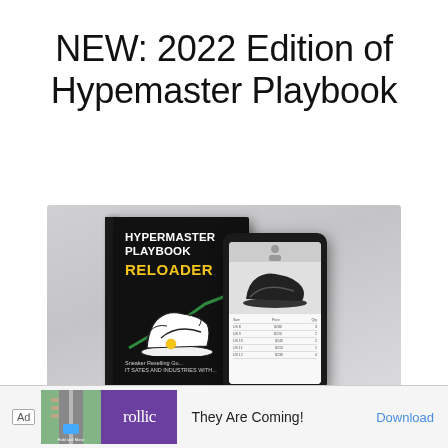NEW: 2022 Edition of Hypemaster Playbook
[Figure (photo): Book cover of Hypermaster Playbook Reloaded (black cover with sneaker illustration and yellow RELOADED text) next to a smartphone displaying a sneaker product page]
[Figure (other): Advertisement banner: game app ad showing 'Hold and Move' game, Rollic purple logo, 'They Are Coming!' text, and Download button]